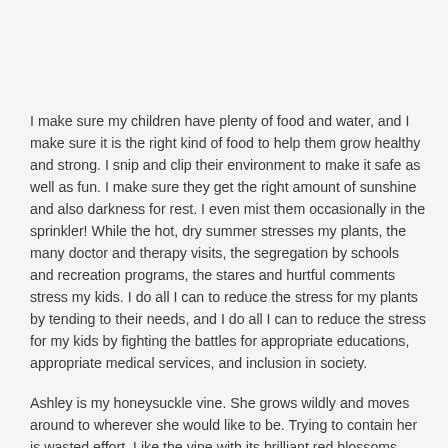I make sure my children have plenty of food and water, and I make sure it is the right kind of food to help them grow healthy and strong. I snip and clip their environment to make it safe as well as fun. I make sure they get the right amount of sunshine and also darkness for rest. I even mist them occasionally in the sprinkler! While the hot, dry summer stresses my plants, the many doctor and therapy visits, the segregation by schools and recreation programs, the stares and hurtful comments stress my kids. I do all I can to reduce the stress for my plants by tending to their needs, and I do all I can to reduce the stress for my kids by fighting the battles for appropriate educations, appropriate medical services, and inclusion in society.
Ashley is my honeysuckle vine. She grows wildly and moves around to wherever she would like to be. Trying to contain her is wasted effort. Like the vine with its brilliant red blossoms, Ashley's smile and laugh announce her presence to the world.